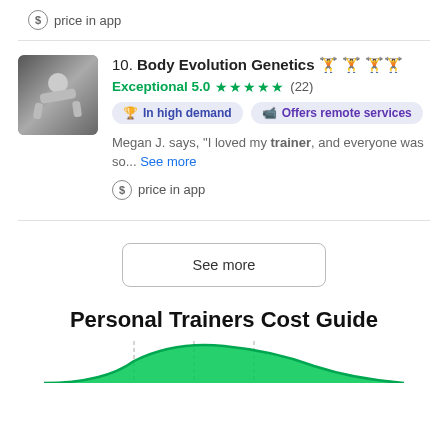price in app
[Figure (photo): Person doing a push-up or plank exercise, dark background]
10. Body Evolution Genetics 🏋 🏋 🏋🏋
Exceptional 5.0 ★★★★★ (22)
🏆 In high demand   📹 Offers remote services
Megan J. says, "I loved my trainer, and everyone was so... See more
price in app
See more
Personal Trainers Cost Guide